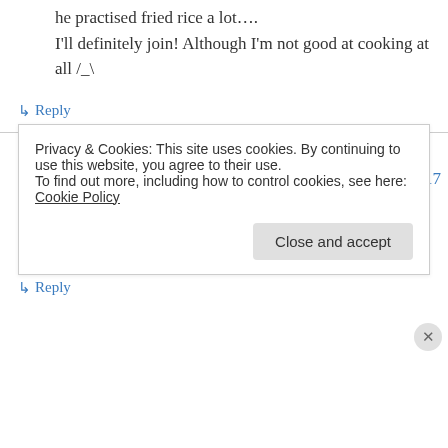he practised fried rice a lot….
I'll definitely join! Although I'm not good at cooking at all /_\
↳ Reply
Wise (@wisecraxx) on September 11, 2011 at 05:17
I'll do this in my Kotetsu cosplay if I can. ❤
↳ Reply
Privacy & Cookies: This site uses cookies. By continuing to use this website, you agree to their use.
To find out more, including how to control cookies, see here: Cookie Policy
Close and accept